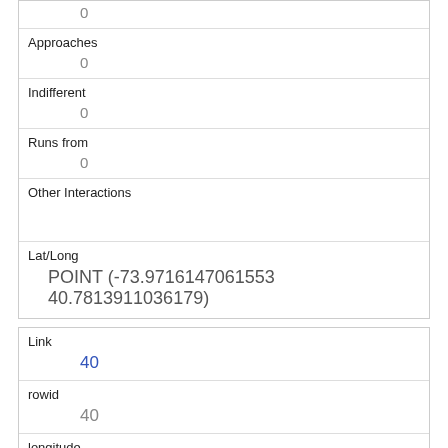| 0 |
| Approaches | 0 |
| Indifferent | 0 |
| Runs from | 0 |
| Other Interactions |  |
| Lat/Long | POINT (-73.9716147061553 40.7813911036179) |
| Link | 40 |
| rowid | 40 |
| longitude | -73.9535410657077 |
| latitude | 40.7928711760061 |
| Unique Squirrel ID |  |